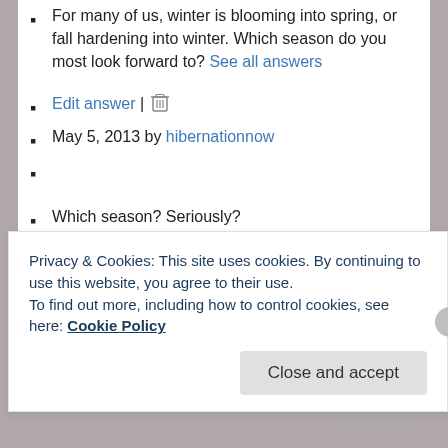For many of us, winter is blooming into spring, or fall hardening into winter. Which season do you most look forward to? See all answers
Edit answer |  [trash icon]
May 5, 2013 by hibernationnow
Which season? Seriously?
You’re kidding right? As if there was a choice, at least for me….Anyone who knows me is probably laughing now. Fall hardening into winter? Not a chance in the world. Ever. I hate the winter, hate to be cold, hate the length of winter, the slippery snow
Privacy & Cookies: This site uses cookies. By continuing to use this website, you agree to their use.
To find out more, including how to control cookies, see here: Cookie Policy
Close and accept